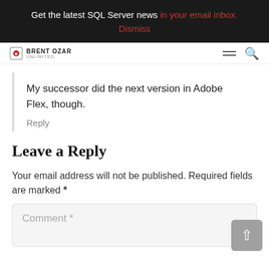Get the latest SQL Server news in your email inbox. Dismiss
[Figure (logo): Brent Ozar Unlimited logo with navigation hamburger menu and search icon]
My successor did the next version in Adobe Flex, though.
Reply
Leave a Reply
Your email address will not be published. Required fields are marked *
Comment *